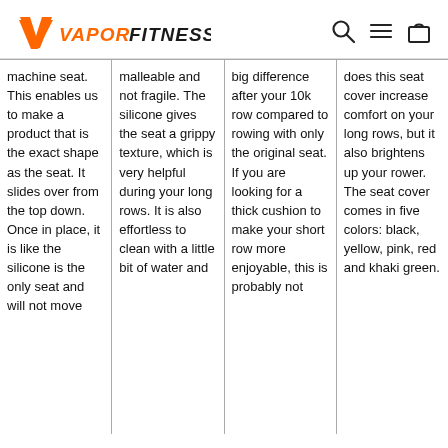VAPOR FITNESS
machine seat. This enables us to make a product that is the exact shape as the seat. It slides over from the top down. Once in place, it is like the silicone is the only seat and will not move
malleable and not fragile. The silicone gives the seat a grippy texture, which is very helpful during your long rows. It is also effortless to clean with a little bit of water and
big difference after your 10k row compared to rowing with only the original seat. If you are looking for a thick cushion to make your short row more enjoyable, this is probably not
does this seat cover increase comfort on your long rows, but it also brightens up your rower. The seat cover comes in five colors: black, yellow, pink, red and khaki green.